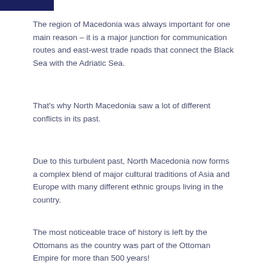The region of Macedonia was always important for one main reason – it is a major junction for communication routes and east-west trade roads that connect the Black Sea with the Adriatic Sea.
That's why North Macedonia saw a lot of different conflicts in its past.
Due to this turbulent past, North Macedonia now forms a complex blend of major cultural traditions of Asia and Europe with many different ethnic groups living in the country.
The most noticeable trace of history is left by the Ottomans as the country was part of the Ottoman Empire for more than 500 years!